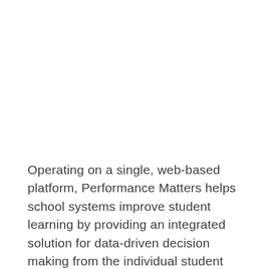Operating on a single, web-based platform, Performance Matters helps school systems improve student learning by providing an integrated solution for data-driven decision making from the individual student level to the district level. Using interactive dashboards and color-coded reports, educators can slice and dice data to monitor student performance